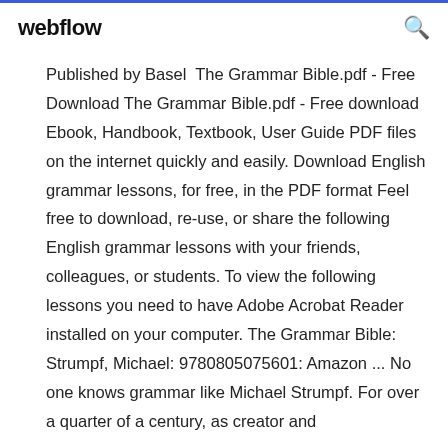webflow
Published by Basel  The Grammar Bible.pdf - Free Download The Grammar Bible.pdf - Free download Ebook, Handbook, Textbook, User Guide PDF files on the internet quickly and easily. Download English grammar lessons, for free, in the PDF format Feel free to download, re-use, or share the following English grammar lessons with your friends, colleagues, or students. To view the following lessons you need to have Adobe Acrobat Reader installed on your computer. The Grammar Bible: Strumpf, Michael: 9780805075601: Amazon ... No one knows grammar like Michael Strumpf. For over a quarter of a century, as creator and organizer of the National Grammar Hotline,